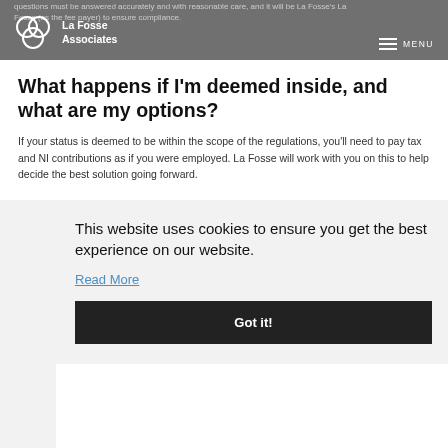questions must be answered accurately and with reasonable care, and it will be La Fosse's La Fosse (as the fee payer) to ensure compliance.
What happens if I'm deemed inside, and what are my options?
If your status is deemed to be within the scope of the regulations, you'll need to pay tax and NI contributions as if you were employed. La Fosse will work with you on this to help decide the best solution going forward.
Wil um
If you affect
La Fos get in
This website uses cookies to ensure you get the best experience on our website. Read More Got it!